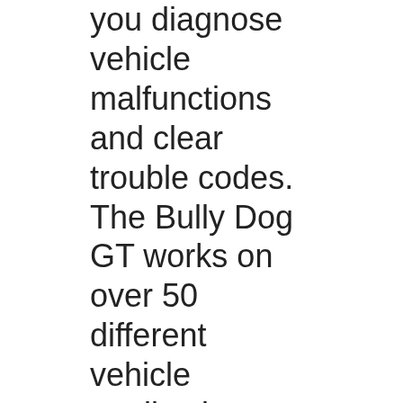you diagnose vehicle malfunctions and clear trouble codes. The Bully Dog GT works on over 50 different vehicle applications. Triple Dog GT Tuner (40410) by Bully DogB®. HP Gain: Up To 23.5. TQ Gain: Up To 30. Designed utilizing the latest technology, this programmer also offers a host of innovative features listed below.
This Bully Dog DPF Triple Dog GT Tuner features a 2.5" Color screen. It allows removal of DPF/Cat, EGR and Urea injection. It has Built in gauges and safety features and allows you to precisely tune your engine with HP gains. It also allows you to remove or adjust top вЂ¦ 11/03/2010В В· Overview